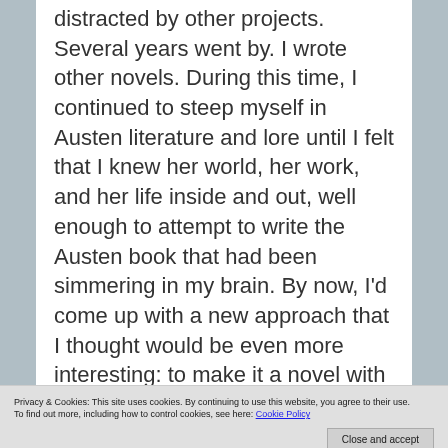distracted by other projects. Several years went by. I wrote other novels. During this time, I continued to steep myself in Austen literature and lore until I felt that I knew her world, her work, and her life inside and out, well enough to attempt to write the Austen book that had been simmering in my brain. By now, I'd come up with a new approach that I thought would be even more interesting: to make it a novel with a novel, wrapping a modern day story around the missing manuscript, so that I could show the impact that find would have on their lives.
I developed the main characters in the Austen
Privacy & Cookies: This site uses cookies. By continuing to use this website, you agree to their use.
To find out more, including how to control cookies, see here: Cookie Policy
Close and accept
plays the piano forte and harp, and sings "in the